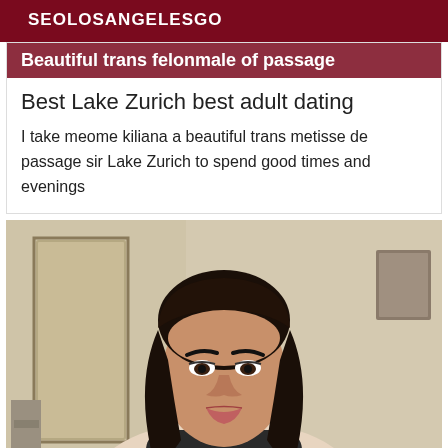SEOLOSANGELESGO
Beautiful trans felonmale of passage
Best Lake Zurich best adult dating
I take meome kiliana a beautiful trans metisse de passage sir Lake Zurich to spend good times and evenings
[Figure (photo): Portrait photo of a person with dark straight shoulder-length hair, wearing a dark top, in an indoor setting with light-colored walls and a door visible in the background.]